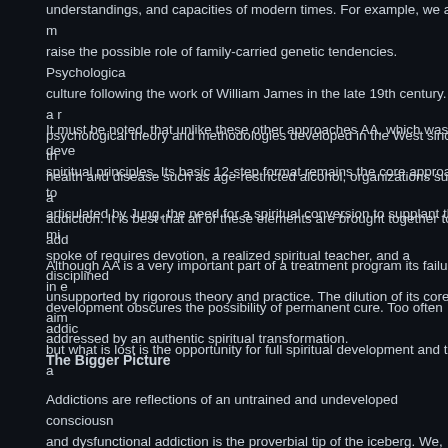understandings, and capacities of modern times. For example, we are more aware to raise the possible role of family-carried genetic tendencies. Psychological culture following the work of William James in the late 19th century. As a result psychological theory and methodologies developed in the West since the health and disease such as age-restricted alcohol, organizations such as addiction. It is best that all of these elements are brought together to add
It must be noted, that unlike these other approaches AA, which was developed on spiritual principles. Its basic 12-step format remains the core approach to articulated by Jung, the need for a spiritual conversion to supplant the mi spoke of requires devotion, a realized spiritual teacher, and a disciplined unsupported by rigorous theory and practice. The dilution of its core aim addressed by an authentic spiritual transformation.
Although AA is a very important part of a treatment program its failure in development obscures the possibility of permanent cure. Too often addi but what is lost is the opportunity for full spiritual development and the a
The Bigger Picture
Addictions are reflections of an untrained and undeveloped consciousn and dysfunctional addiction is the proverbial tip of the iceberg. We, you a hubris by labeling, subtle addiction as "normal," in actuality it is the oc